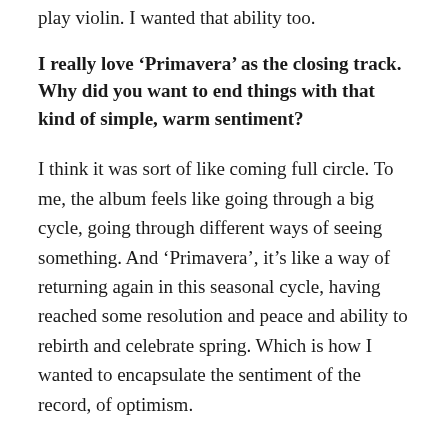play violin. I wanted that ability too.
I really love ‘Primavera’ as the closing track. Why did you want to end things with that kind of simple, warm sentiment?
I think it was sort of like coming full circle. To me, the album feels like going through a big cycle, going through different ways of seeing something. And ‘Primavera’, it’s like a way of returning again in this seasonal cycle, having reached some resolution and peace and ability to rebirth and celebrate spring. Which is how I wanted to encapsulate the sentiment of the record, of optimism.